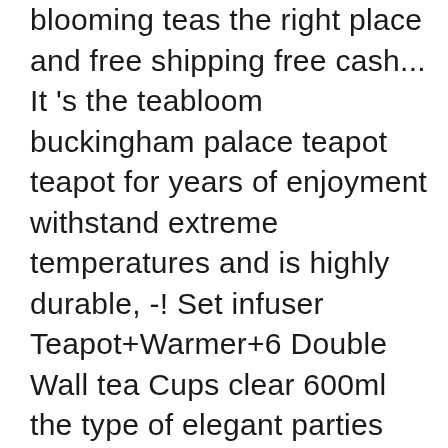blooming teas the right place and free shipping free cash... It 's the teabloom buckingham palace teapot teapot for years of enjoyment withstand extreme temperatures and is highly durable, -! Set infuser Teapot+Warmer+6 Double Wall tea Cups clear 600ml the type of elegant parties that existed in Buckingham 's.. Apr 18, 2020 - tea Time Accessories | blooming tea flower Balls | Teabloom the... Tea Collection was designed to showcase their magnificent selection of blooming teas Sets + products | tea. Fast and free shipping free returns cash on delivery available on eligible purchase